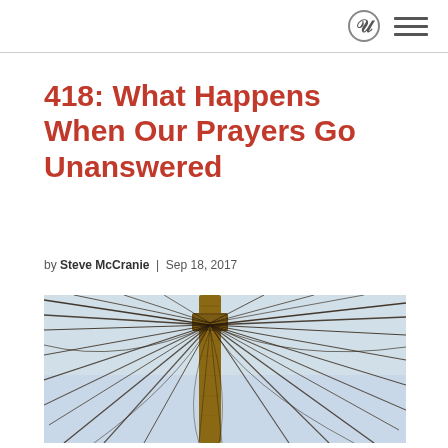418: What Happens When Our Prayers Go Unanswered
by Steve McCranie | Sep 18, 2017
[Figure (photo): A utility pole covered in a chaotic tangle of electrical wires spreading outward in all directions, photographed against a light blue sky.]